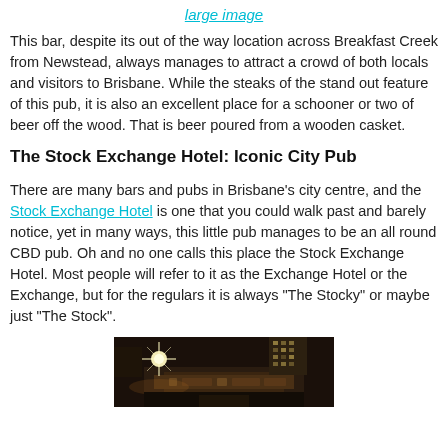large image
This bar, despite its out of the way location across Breakfast Creek from Newstead, always manages to attract a crowd of both locals and visitors to Brisbane. While the steaks of the stand out feature of this pub, it is also an excellent place for a schooner or two of beer off the wood. That is beer poured from a wooden casket.
The Stock Exchange Hotel: Iconic City Pub
There are many bars and pubs in Brisbane's city centre, and the Stock Exchange Hotel is one that you could walk past and barely notice, yet in many ways, this little pub manages to be an all round CBD pub. Oh and no one calls this place the Stock Exchange Hotel. Most people will refer to it as the Exchange Hotel or the Exchange, but for the regulars it is always "The Stocky" or maybe just "The Stock".
[Figure (photo): Night-time exterior photo of the Stock Exchange Hotel building with bright street lights and city buildings in background]